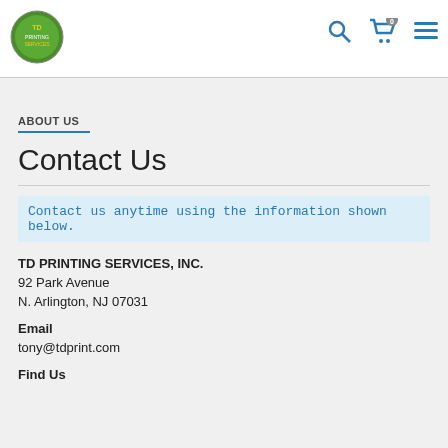TD Printing Services header with logo, search, cart, and menu icons
ABOUT US
Contact Us
Contact us anytime using the information shown below.
TD PRINTING SERVICES, INC.
92 Park Avenue
N. Arlington, NJ 07031
Email
tony@tdprint.com
Find Us